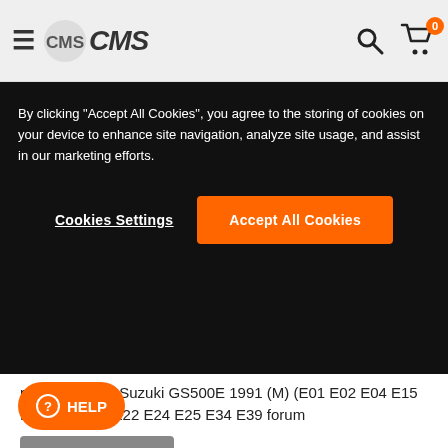CMS
By clicking "Accept All Cookies", you agree to the storing of cookies on your device to enhance site navigation, analyze site usage, and assist in our marketing efforts.
Cookies Settings | Accept All Cookies
posts from the Suzuki GS500E 1991 (M) (E01 E02 E04 E15 E16 E17 E21 E22 E24 E25 E34 E39 forum
discuss this model
BOLT 6X25 FORUM
Posts from the Suzuki BOLT 6X25 forum
discuss this product